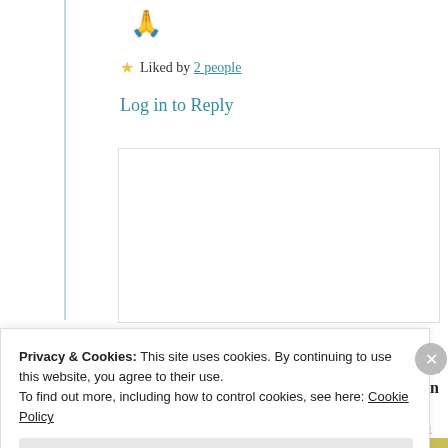🙏
★ Liked by 2 people
Log in to Reply
Thattamma C.G Menon
26th Jun 2021 at 7:53 am
Privacy & Cookies: This site uses cookies. By continuing to use this website, you agree to their use. To find out more, including how to control cookies, see here: Cookie Policy
Close and accept